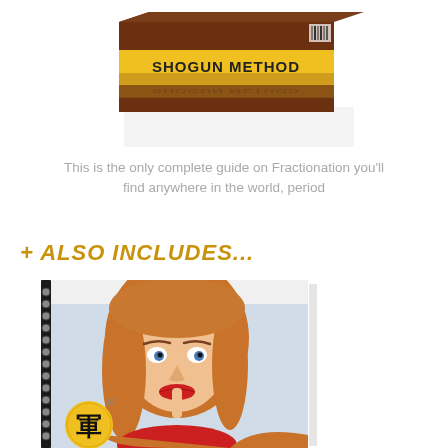[Figure (illustration): 3D product box labeled SHOGUN METHOD with yellow and dark brown colors, shown with its reflection below]
This is the only complete guide on Fractionation you'll find anywhere in the world, period
+ ALSO INCLUDES...
[Figure (illustration): Spiral-bound notebook cover labeled SHOGUN METHOD featuring a photo of a young woman with auburn hair holding her finger to her lips, with a yellow circular logo containing a Japanese kanji character in the bottom left corner]